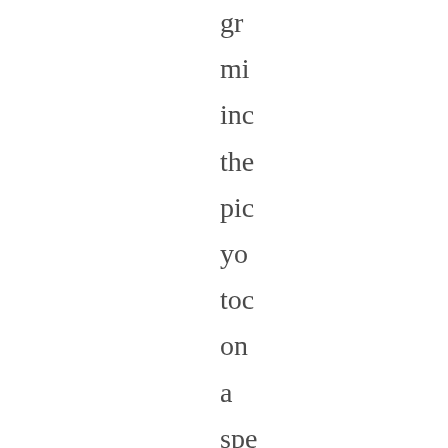gr
mi
inc
the
pic
yo
toc
on
a
spe
vac
trip
or
it
mi
inc
dif
pic
of